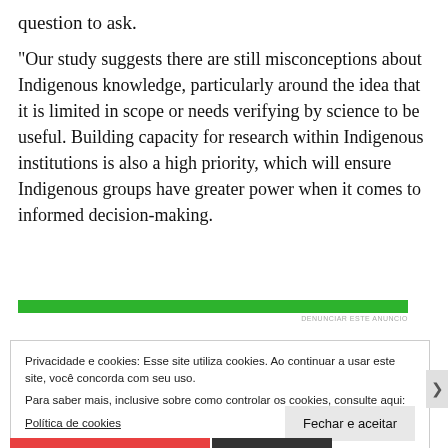question to ask.
“Our study suggests there are still misconceptions about Indigenous knowledge, particularly around the idea that it is limited in scope or needs verifying by science to be useful. Building capacity for research within Indigenous institutions is also a high priority, which will ensure Indigenous groups have greater power when it comes to informed decision-making.
[Figure (other): Green advertisement banner with label DENUNCIAR ESTE ANUNCIO]
Privacidade e cookies: Esse site utiliza cookies. Ao continuar a usar este site, você concorda com seu uso.
Para saber mais, inclusive sobre como controlar os cookies, consulte aqui:
Política de cookies
Fechar e aceitar
[Figure (other): Red and dark advertisement banner at bottom with label DENUNCIAR ESTE ANUNCIO]